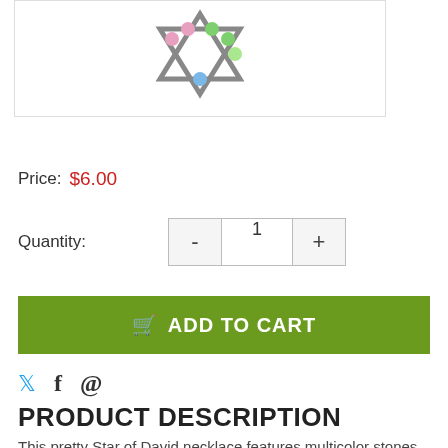[Figure (photo): Photo of a Star of David necklace pendant with multicolor gemstones in pink, green, and blue on a silver setting]
Price:  $6.00
Quantity:  1
ADD TO CART
PRODUCT DESCRIPTION
This pretty Star of David necklace features multicolor stones in